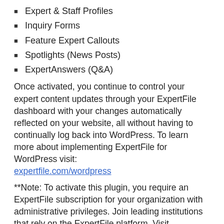Expert & Staff Profiles
Inquiry Forms
Feature Expert Callouts
Spotlights (News Posts)
ExpertAnswers (Q&A)
Once activated, you continue to control your expert content updates through your ExpertFile dashboard with your changes automatically reflected on your website, all without having to continually log back into WordPress. To learn more about implementing ExpertFile for WordPress visit: expertfile.com/wordpress
**Note: To activate this plugin, you require an ExpertFile subscription for your organization with administrative privileges. Join leading institutions that rely on the ExpertFile platform. Visit expertfile.com to learn more.